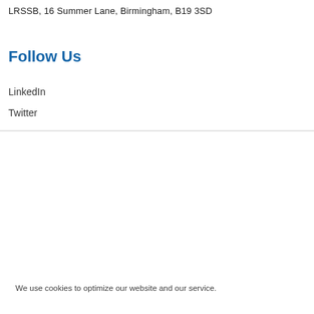LRSSB, 16 Summer Lane, Birmingham, B19 3SD
Follow Us
LinkedIn
Twitter
We use cookies to optimize our website and our service.
Accept cookies
Deny
View preferences
Cookie Policy  Privacy Policy